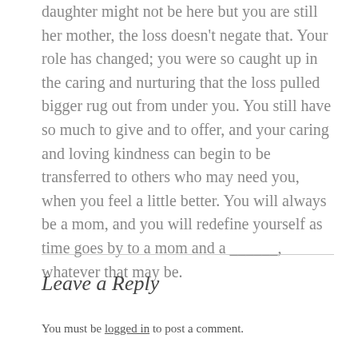daughter might not be here but you are still her mother, the loss doesn’t negate that. Your role has changed; you were so caught up in the caring and nurturing that the loss pulled bigger rug out from under you. You still have so much to give and to offer, and your caring and loving kindness can begin to be transferred to others who may need you, when you feel a little better. You will always be a mom, and you will redefine yourself as time goes by to a mom and a ______, whatever that may be.
Leave a Reply
You must be logged in to post a comment.